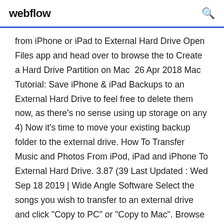webflow
from iPhone or iPad to External Hard Drive Open Files app and head over to browse the to Create a Hard Drive Partition on Mac  26 Apr 2018 Mac Tutorial: Save iPhone & iPad Backups to an External Hard Drive to feel free to delete them now, as there's no sense using up storage on any 4) Now it's time to move your existing backup folder to the external drive. How To Transfer Music and Photos From iPod, iPad and iPhone To External Hard Drive. 3.87 (39 Last Updated : Wed Sep 18 2019 | Wide Angle Software Select the songs you wish to transfer to an external drive and click "Copy to PC" or "Copy to Mac". Browse to your external hard drive. Touch Save and click OK...